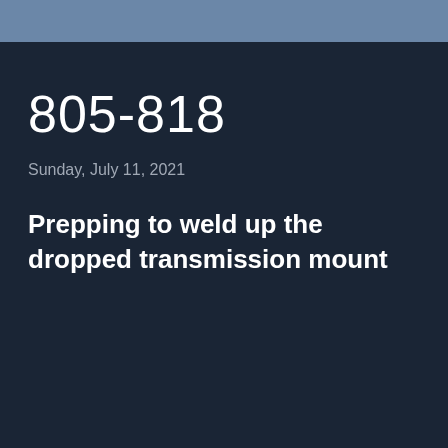805-818
Sunday, July 11, 2021
Prepping to weld up the dropped transmission mount